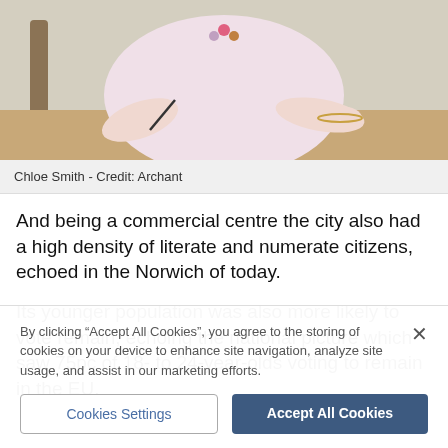[Figure (photo): Photo of Chloe Smith, a woman in a light pink top with a colorful necklace, sitting at a desk holding a pen]
Chloe Smith - Credit: Archant
And being a commercial centre the city also had a high density of literate and numerate citizens, echoed in the Norwich of today.
Its younger population was also more likely to vote remain, echoing the national picture which saw 75pc of 18- to 24-year-olds voting to remain in the EU,
By clicking “Accept All Cookies”, you agree to the storing of cookies on your device to enhance site navigation, analyze site usage, and assist in our marketing efforts.